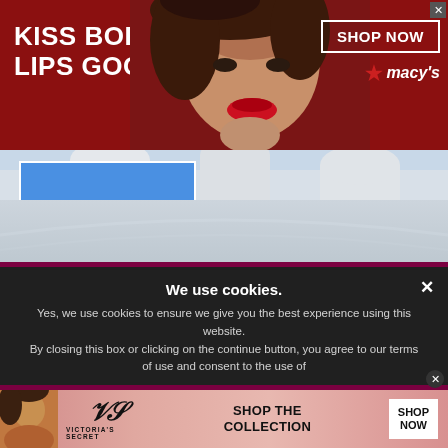[Figure (screenshot): Macy's advertisement banner with dark red background, woman's face with red lips in center, 'KISS BORING LIPS GOODBYE' text on left, 'SHOP NOW' button and Macy's star logo on right]
[Figure (screenshot): Website content area showing architectural building exterior photo with white columns/arches against blue sky; blue rectangle overlay in upper left portion of image]
We use cookies.
Yes, we use cookies to ensure we give you the best experience using this website.
By closing this box or clicking on the continue button, you agree to our terms of use and consent to the use of
[Figure (screenshot): Victoria's Secret advertisement banner with pink background, model on left, VS logo in center, 'SHOP THE COLLECTION' text, and 'SHOP NOW' white button on right]